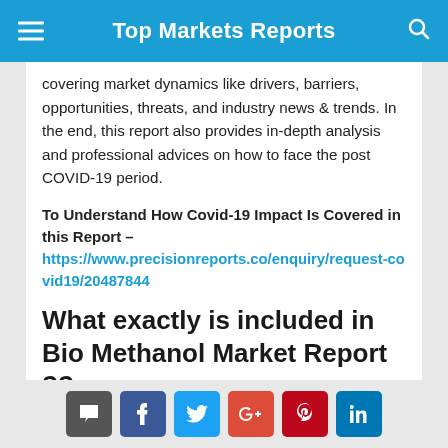Top Markets Reports
covering market dynamics like drivers, barriers, opportunities, threats, and industry news & trends. In the end, this report also provides in-depth analysis and professional advices on how to face the post COVID-19 period.
To Understand How Covid-19 Impact Is Covered in this Report – https://www.precisionreports.co/enquiry/request-covid19/20487844
What exactly is included in Bio Methanol Market Report ??